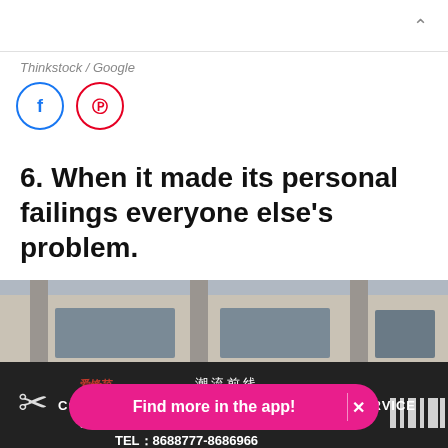Thinkstock / Google
[Figure (other): Facebook and Pinterest social share icon buttons (circles with icons)]
6. When it made its personal failings everyone else's problem.
[Figure (photo): Photo of a building exterior with a dark banner sign below. The sign has Chinese characters reading 潮流前线 and an error message overlay reading 'COULD NOT CONNECT TO TRANSLATOR SERVICE'. A phone number TEL: 8688777-8686966 is visible at the bottom. A pink app-install banner overlay reads 'Find more in the app!' with an X close button.]